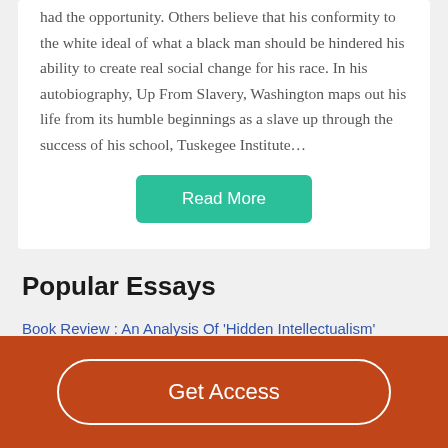had the opportunity. Others believe that his conformity to the white ideal of what a black man should be hindered his ability to create real social change for his race. In his autobiography, Up From Slavery, Washington maps out his life from its humble beginnings as a slave up through the success of his school, Tuskegee Institute…
[Figure (other): Teal 'Read More' button]
Popular Essays
Book Review : An Analysis Of 'Hidden Intellectualism'
[Figure (other): Orange footer bar with 'Get Access' button outlined in white]